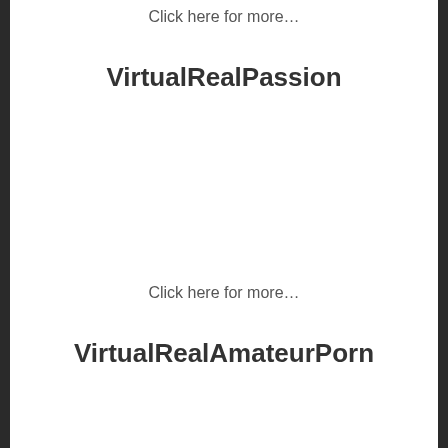Click here for more…
VirtualRealPassion
Click here for more…
VirtualRealAmateurPorn